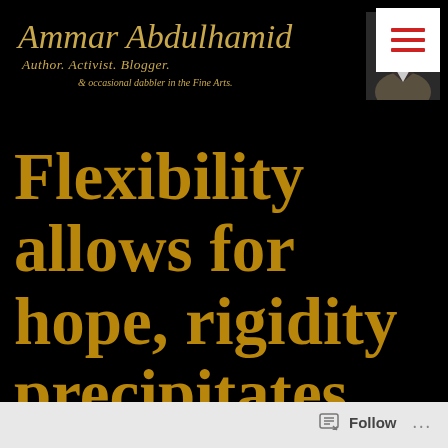[Figure (screenshot): Hamburger menu button with three red horizontal lines on white background, positioned top-right]
Ammar Abdulhamid — Author. Activist. Blogger. & occasional dabbler in the Fine Arts.
[Figure (photo): Portrait photo of Ammar Abdulhamid, a middle-aged man in a suit, dark background]
Flexibility allows for hope, rigidity precipitates mayhem
Follow ...